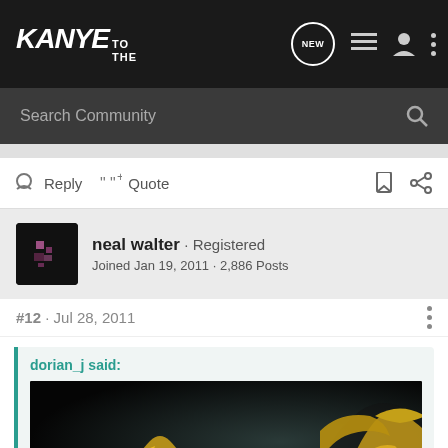KANYE TO THE — Navigation bar with NEW, list, user, and menu icons
Search Community
Reply   Quote
neal walter · Registered
Joined Jan 19, 2011 · 2,886 Posts
#12 · Jul 28, 2011
dorian_j said:
[Figure (photo): Dark background statue/sculpture image showing a golden figure with wings, appearing to be a classical or mythological statue, partially visible at the bottom of the page]